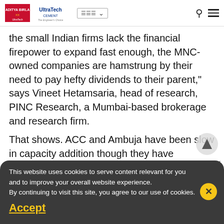UltraTech Cement navigation bar
the small Indian firms lack the financial firepower to expand fast enough, the MNC-owned companies are hamstrung by their need to pay hefty dividends to their parent," says Vineet Hetamsaria, head of research, PINC Research, a Mumbai-based brokerage and research firm.
That shows. ACC and Ambuja have been slow in capacity addition though they have generated an equal amount of cash. Currently, Switzerland-based Holcim group, through its subsidiaries ACC and Ambuja Cement, leads the league table with an installed capacity of 55 million tonnes as against UltraTech's 49 million tonnes. But
This website uses cookies to serve content relevant for you and to improve your overall website experience.
By continuing to visit this site, you agree to our use of cookies.
Accept